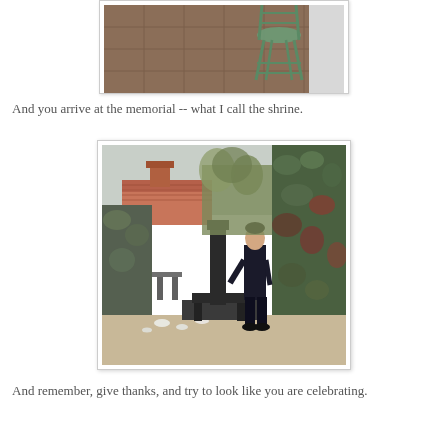[Figure (photo): Partial photo of an outdoor patio area showing a tiled floor and a green metal chair/stool, cropped at the top of the page.]
And you arrive at the memorial -- what I call the shrine.
[Figure (photo): Outdoor courtyard photo showing a man in dark clothing standing at a memorial/shrine consisting of a dark stone pillar with a small bench, surrounded by ivy-covered walls, a tiled-roof building, and a sandy garden area with white stones.]
And remember, give thanks, and try to look like you are celebrating.